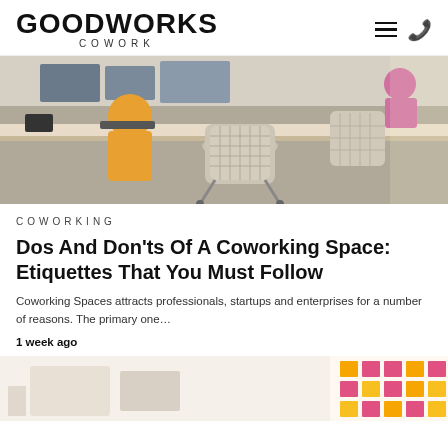GOODWORKS COWORK
[Figure (photo): Open coworking office space with people working at desks with modern mesh chairs]
COWORKING
Dos And Don’ts Of A Coworking Space: Etiquettes That You Must Follow
Coworking Spaces attracts professionals, startups and enterprises for a number of reasons. The primary one…
1 week ago
[Figure (photo): Partial view of another article image at bottom of page]